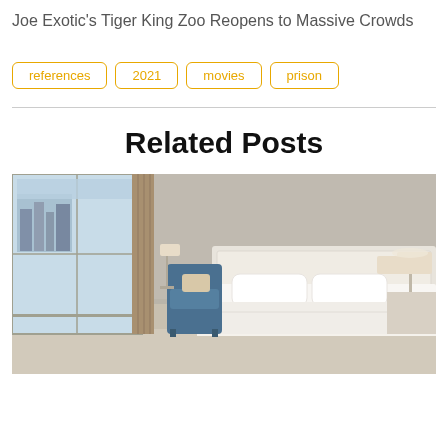Joe Exotic's Tiger King Zoo Reopens to Massive Crowds
references
2021
movies
prison
Related Posts
[Figure (photo): Hotel room with large bed with white bedding, blue armchair, floor-to-ceiling windows with city view, curtains, and nightstand lamps]